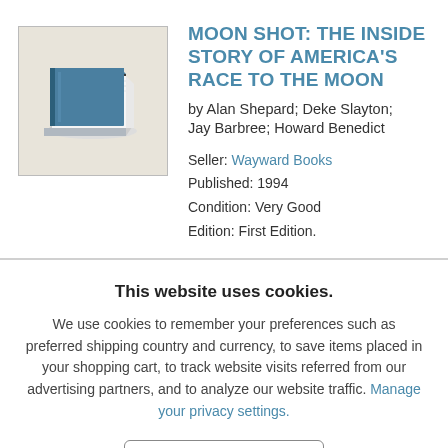[Figure (illustration): Icon of a book (blue cover, white pages) lying flat on a beige/tan background, inside a bordered box.]
MOON SHOT: THE INSIDE STORY OF AMERICA'S RACE TO THE MOON
by Alan Shepard; Deke Slayton; Jay Barbree; Howard Benedict
Seller:  Wayward Books
Published:  1994
Condition:  Very Good
Edition:  First Edition.
This website uses cookies.
We use cookies to remember your preferences such as preferred shipping country and currency, to save items placed in your shopping cart, to track website visits referred from our advertising partners, and to analyze our website traffic. Manage your privacy settings.